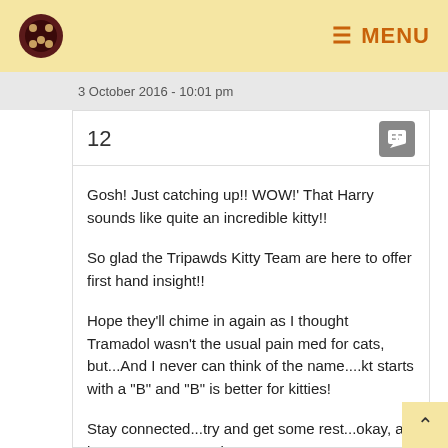MENU
3 October 2016 - 10:01 pm
12
Gosh! Just catching up!! WOW!' That Harry sounds like quite an incredible kitty!!

So glad the Tripawds Kitty Team are here to offer first hand insight!!

Hope they'll chime in again as I thought Tramadol wasn't the usual pain med for cats, but...And I never can think of the name....kt starts with a "B" and "B" is better for kitties!

Stay connected...try and get some rest...okay, at least stay connected!!

Love!

Sally and Alumni Happy Hannah and Merry Myrtle and Frankie too!